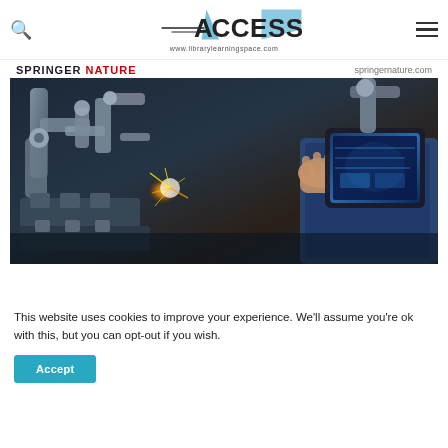ACCESS www.librarylearningspace.com
[Figure (screenshot): Springer Nature website banner showing 'SPRINGER NATURE springernature.com' header with an industrial robotics/manufacturing photo below — robotic arms, sparks, and a person holding a tablet with glowing blue interface in a factory setting.]
This website uses cookies to improve your experience. We'll assume you're ok with this, but you can opt-out if you wish.
Accept